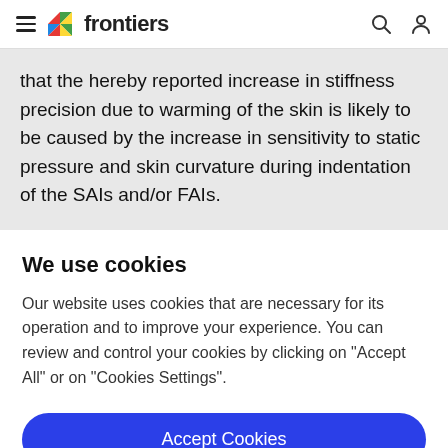frontiers
that the hereby reported increase in stiffness precision due to warming of the skin is likely to be caused by the increase in sensitivity to static pressure and skin curvature during indentation of the SAIs and/or FAIs.
We use cookies
Our website uses cookies that are necessary for its operation and to improve your experience. You can review and control your cookies by clicking on "Accept All" or on "Cookies Settings".
Accept Cookies
Cookies Settings